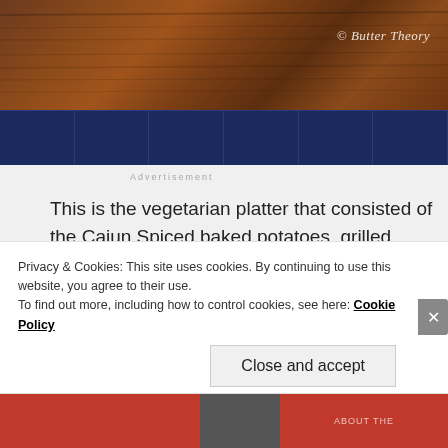[Figure (photo): Top portion of a food blog page showing a wooden board on blue tiles, with a watermark '© Butter Theory' in white italic text.]
Advertisement
This is the vegetarian platter that consisted of the Cajun Spiced baked potatoes, grilled paneer( cottage cheese) tikkas, Lebanese Veg tikki, tandoori mushrooms. The Non-vegetarian platter had things
Privacy & Cookies: This site uses cookies. By continuing to use this website, you agree to their use.
To find out more, including how to control cookies, see here: Cookie Policy
Close and accept